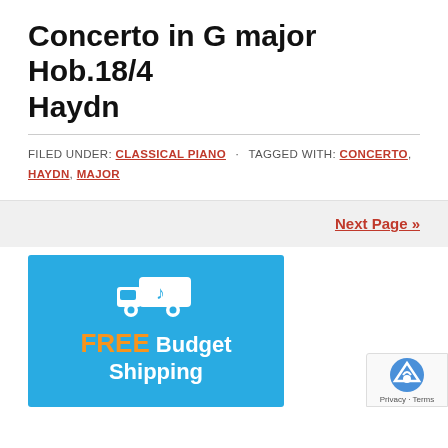Concerto in G major Hob.18/4 Haydn
FILED UNDER: CLASSICAL PIANO · TAGGED WITH: CONCERTO, HAYDN, MAJOR
Next Page »
[Figure (infographic): Blue banner advertisement for FREE Budget Shipping with a white truck icon carrying a music note]